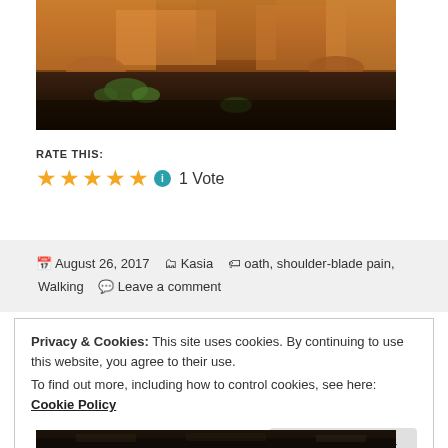[Figure (photo): Photo of a golden retriever dog lying on dark soil/mulch ground with green plants visible, showing warm orange-brown fur from above]
RATE THIS:
★★★★★ ℹ 1 Vote
August 26, 2017   Kasia   oath, shoulder-blade pain, Walking   Leave a comment
Privacy & Cookies: This site uses cookies. By continuing to use this website, you agree to their use.
To find out more, including how to control cookies, see here: Cookie Policy
Close and accept
[Figure (photo): Partial view of a photo at the bottom of the page, dark outdoor scene]